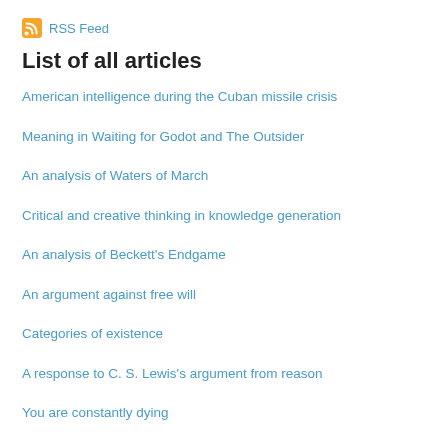RSS Feed
List of all articles
American intelligence during the Cuban missile crisis
Meaning in Waiting for Godot and The Outsider
An analysis of Waters of March
Critical and creative thinking in knowledge generation
An analysis of Beckett's Endgame
An argument against free will
Categories of existence
A response to C. S. Lewis's argument from reason
You are constantly dying